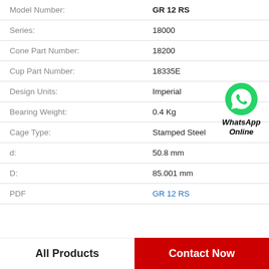| Field | Value |
| --- | --- |
| Model Number: | GR 12 RS |
| Series: | 18000 |
| Cone Part Number: | 18200 |
| Cup Part Number: | 18335E |
| Design Units: | Imperial |
| Bearing Weight: | 0.4 Kg |
| Cage Type: | Stamped Steel |
| d: | 50.8 mm |
| D: | 85.001 mm |
| PDF | GR 12 RS |
[Figure (logo): WhatsApp Online green circle icon with phone handset, labeled 'WhatsApp Online']
All Products | Contact Now